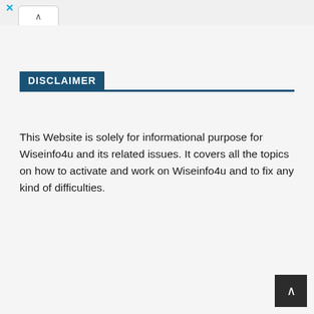× (close button and browser tab with chevron up)
DISCLAIMER
This Website is solely for informational purpose for Wiseinfo4u and its related issues. It covers all the topics on how to activate and work on Wiseinfo4u and to fix any kind of difficulties.